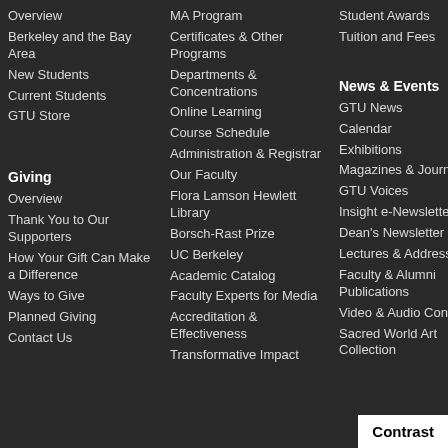Overview
Berkeley and the Bay Area
New Students
Current Students
GTU Store
Giving
Overview
Thank You to Our Supporters
How Your Gift Can Make a Difference
Ways to Give
Planned Giving
Contact Us
MA Program
Certificates & Other Programs
Departments & Concentrations
Online Learning
Course Schedule
Administration & Registrar
Our Faculty
Flora Lamson Hewlett Library
Borsch-Rast Prize
UC Berkeley
Academic Catalog
Faculty Experts for Media
Accreditation & Effectiveness
Transformative Impact
Student Awards
Tuition and Fees
News & Events
GTU News
Calendar
Exhibitions
Magazines & Journals
GTU Voices
Insight e-Newsletter
Dean's Newsletter
Lectures & Addresses
Faculty & Alumni Publications
Video & Audio Content
Sacred World Art Collection
Contrast